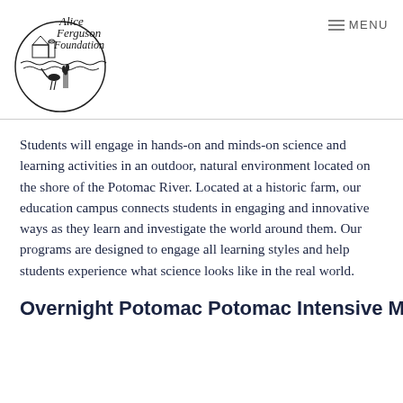[Figure (logo): Alice Ferguson Foundation circular logo with illustration of a farm building, water, and a heron bird]
≡ MENU
Students will engage in hands-on and minds-on science and learning activities in an outdoor, natural environment located on the shore of the Potomac River. Located at a historic farm, our education campus connects students in engaging and innovative ways as they learn and investigate the world around them. Our programs are designed to engage all learning styles and help students experience what science looks like in the real world.
Overnight Potomac Potomac Intensive March...